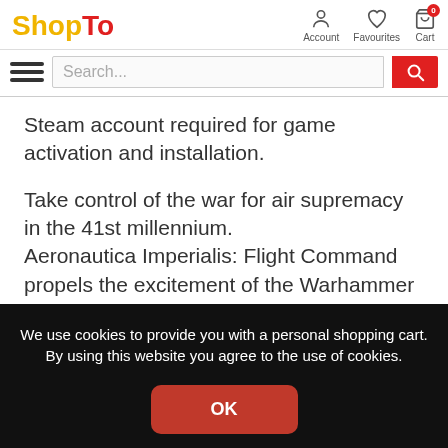ShopTo — Account, Favourites, Cart
Steam account required for game activation and installation.
Take control of the war for air supremacy in the 41st millennium.
Aeronautica Imperialis: Flight Command propels the excitement of the Warhammer 40,000 universe into the stratosphere in a richly detailed aerial combat game. Enter the arena of tactical airborne warfare like never
We use cookies to provide you with a personal shopping cart. By using this website you agree to the use of cookies.